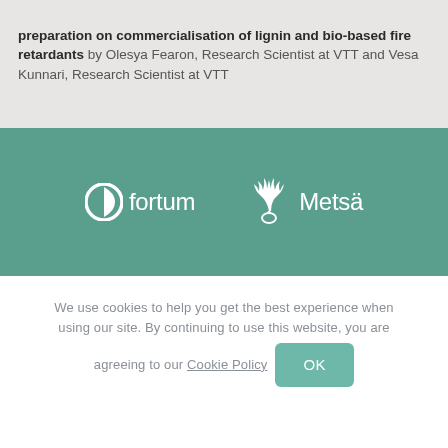preparation on commercialisation of lignin and bio-based fire retardants by Olesya Fearon, Research Scientist at VTT and Vesa Kunnari, Research Scientist at VTT
[Figure (logo): Fortum and Metsä logos on a teal/green background. Fortum logo shows a circular icon with the word 'fortum'. Metsä logo shows a stylized antler/deer icon with the word 'Metsä'.]
We use cookies to help you get the best experience when using our site. By continuing to use this website, you are agreeing to our Cookie Policy  OK